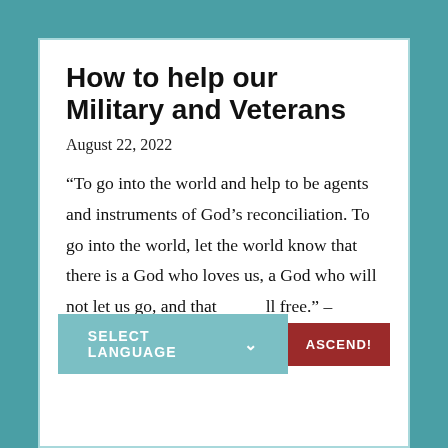How to help our Military and Veterans
August 22, 2022
“To go into the world and help to be agents and instruments of God’s reconciliation. To go into the world, let the world know that there is a God who loves us, a God who will not let us go, and that…all free.” – Presiding…rry…
[...]